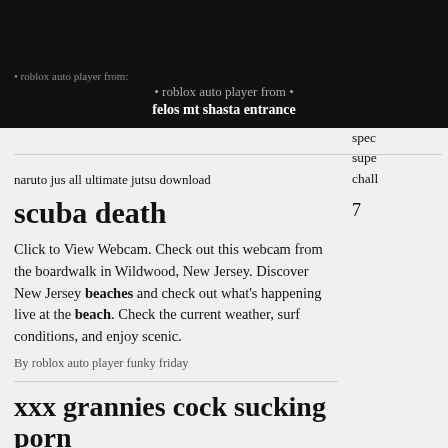felos mt shasta entrance
naruto jus all ultimate jutsu download
spec
supe
chall
7
scuba death
Click to View Webcam. Check out this webcam from the boardwalk in Wildwood, New Jersey. Discover New Jersey beaches and check out what's happening live at the beach. Check the current weather, surf conditions, and enjoy scenic.
By roblox auto player funky friday
xxx grannies cock sucking porn
A "dog friendly" park and beach is located at Glenwood Ave in Wildwood and clearly marked with a giant fire hydrant sculpture. Hours are from 6 a.m. until dusk. A dog park is located on the east side of the beach at 24th Avenue in North Wildwood, a permit